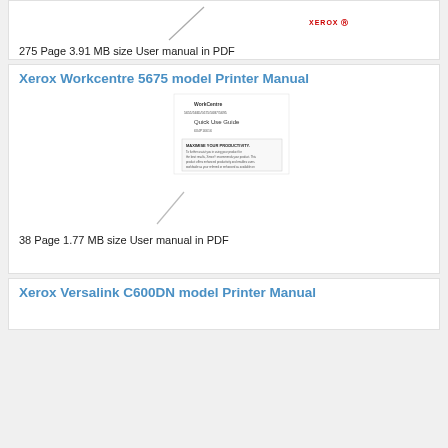[Figure (screenshot): Partial thumbnail of a printer manual document page with Xerox logo and a diagonal line watermark]
275 Page 3.91 MB size User manual in PDF
Xerox Workcentre 5675 model Printer Manual
[Figure (screenshot): Thumbnail of Xerox Workcentre 5675 Quick Use Guide document cover page with text content box]
38 Page 1.77 MB size User manual in PDF
Xerox Versalink C600DN model Printer Manual